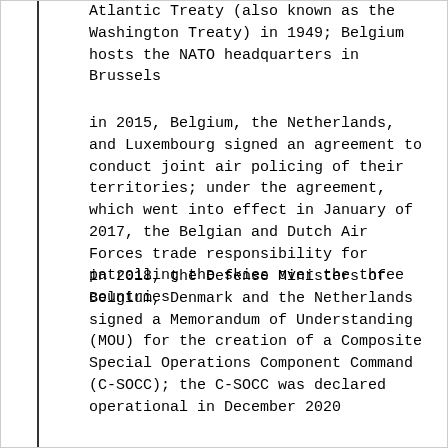Atlantic Treaty (also known as the Washington Treaty) in 1949; Belgium hosts the NATO headquarters in Brussels
in 2015, Belgium, the Netherlands, and Luxembourg signed an agreement to conduct joint air policing of their territories; under the agreement, which went into effect in January of 2017, the Belgian and Dutch Air Forces trade responsibility for patrolling the skies over the three countries
in 2018, the Defense Ministers of Belgium, Denmark and the Netherlands signed a Memorandum of Understanding (MOU) for the creation of a Composite Special Operations Component Command (C-SOCC); the C-SOCC was declared operational in December 2020